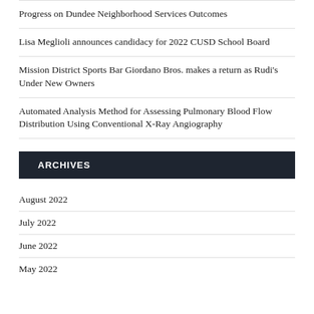Progress on Dundee Neighborhood Services Outcomes
Lisa Meglioli announces candidacy for 2022 CUSD School Board
Mission District Sports Bar Giordano Bros. makes a return as Rudi's Under New Owners
Automated Analysis Method for Assessing Pulmonary Blood Flow Distribution Using Conventional X-Ray Angiography
ARCHIVES
August 2022
July 2022
June 2022
May 2022